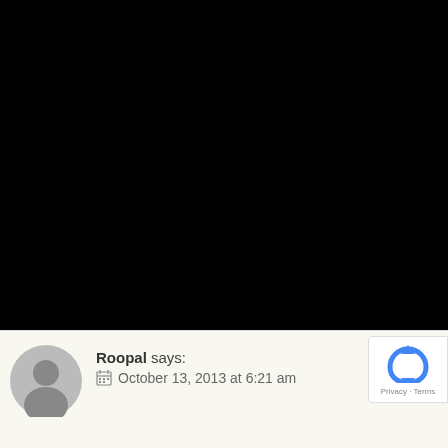[Figure (photo): Large black rectangle occupying upper portion of the page, appears to be a video or image placeholder that is not loading (black screen).]
Roopal says:
October 13, 2013 at 6:21 am